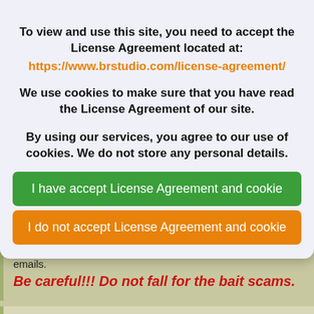To view and use this site, you need to accept the License Agreement located at:
https://www.brstudio.com/license-agreement/
We use cookies to make sure that you have read the License Agreement of our site. By using our services, you agree to our use of cookies. We do not store any personal details.
I have accept License Agreement and cookie
I do not accept License Agreement and cookie
emails.
Be careful!!! Do not fall for the bait scams.
Answer reaction
If you have not received a response to your request Email within 2-3 days, it is likely that our answers were your spam box.
Check your spam box and remove our email adress from